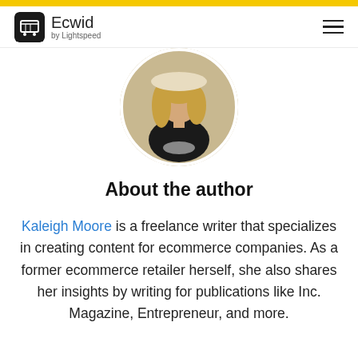Ecwid by Lightspeed
[Figure (photo): Circular portrait photo of Kaleigh Moore, a woman with long blonde hair wearing a black top]
About the author
Kaleigh Moore is a freelance writer that specializes in creating content for ecommerce companies. As a former ecommerce retailer herself, she also shares her insights by writing for publications like Inc. Magazine, Entrepreneur, and more.